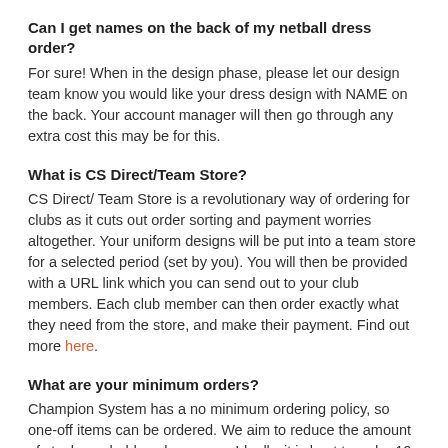Can I get names on the back of my netball dress order?
For sure! When in the design phase, please let our design team know you would like your dress design with NAME on the back. Your account manager will then go through any extra cost this may be for this.
What is CS Direct/Team Store?
CS Direct/ Team Store is a revolutionary way of ordering for clubs as it cuts out order sorting and payment worries altogether. Your uniform designs will be put into a team store for a selected period (set by you). You will then be provided with a URL link which you can send out to your club members. Each club member can then order exactly what they need from the store, and make their payment. Find out more here.
What are your minimum orders?
Champion System has a no minimum ordering policy, so one-off items can be ordered. We aim to reduce the amount of stock you hold each season.  Ideally, it is best to order 10 (of any main item)